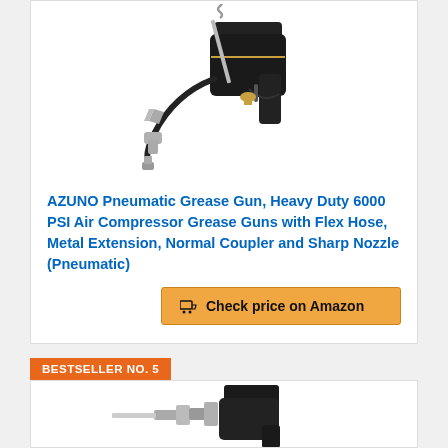[Figure (photo): Product photo of AZUNO Pneumatic Grease Gun with flex hose, metal extension, normal coupler and sharp nozzle accessories displayed against white background]
AZUNO Pneumatic Grease Gun, Heavy Duty 6000 PSI Air Compressor Grease Guns with Flex Hose, Metal Extension, Normal Coupler and Sharp Nozzle (Pneumatic)
Check price on Amazon
BESTSELLER NO. 5
[Figure (photo): Partial product photo of another pneumatic grease gun shown at bottom of page]